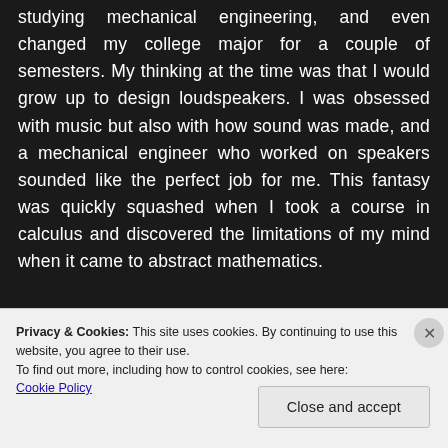studying mechanical engineering, and even changed my college major for a couple of semesters. My thinking at the time was that I would grow up to design loudspeakers. I was obsessed with music but also with how sound was made, and a mechanical engineer who worked on speakers sounded like the perfect job for me. This fantasy was quickly squashed when I took a course in calculus and discovered the limitations of my mind when it came to abstract mathematics.
Privacy & Cookies: This site uses cookies. By continuing to use this website, you agree to their use. To find out more, including how to control cookies, see here: Cookie Policy
Close and accept